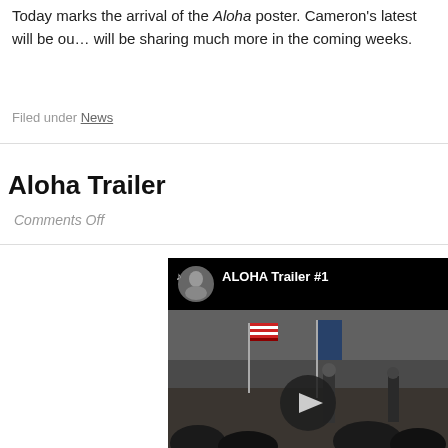Today marks the arrival of the Aloha poster. Cameron's latest will be ou... will be sharing much more in the coming weeks.
Filed under News
Aloha Trailer
Comments Off
[Figure (screenshot): YouTube-style embedded video player showing ALOHA Trailer #1, with a black header bar containing a circular avatar and the title text, and a scene with American flags and a crowd, with a play button overlay.]